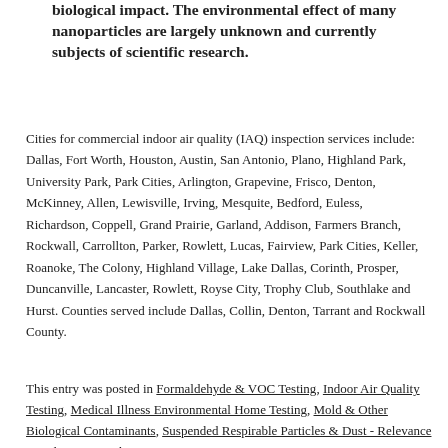biological impact. The environmental effect of many nanoparticles are largely unknown and currently subjects of scientific research.
Cities for commercial indoor air quality (IAQ) inspection services include: Dallas, Fort Worth, Houston, Austin, San Antonio, Plano, Highland Park, University Park, Park Cities, Arlington, Grapevine, Frisco, Denton, McKinney, Allen, Lewisville, Irving, Mesquite, Bedford, Euless, Richardson, Coppell, Grand Prairie, Garland, Addison, Farmers Branch, Rockwall, Carrollton, Parker, Rowlett, Lucas, Fairview, Park Cities, Keller, Roanoke, The Colony, Highland Village, Lake Dallas, Corinth, Prosper, Duncanville, Lancaster, Rowlett, Royse City, Trophy Club, Southlake and Hurst. Counties served include Dallas, Collin, Denton, Tarrant and Rockwall County.
This entry was posted in Formaldehyde & VOC Testing, Indoor Air Quality Testing, Medical Illness Environmental Home Testing, Mold & Other Biological Contaminants, Suspended Respirable Particles & Dust - Relevance to Indoor Air Quality Testing, Toxic, Dangerous